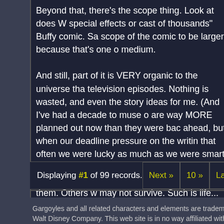Beyond that, there's the scope thing. Look at does not need special effects or cast of thousands" Buffy comic. Sa scope of the comic to be larger, because that's one o medium.
And still, part of it is VERY organic to the universe tha television episodes. Nothing is wasted, and even the story ideas for me. (And I've had a decade to muse o are way MORE planned out now than they were bac ahead, but when our deadline pressure on the writin that often we were lucky as much as we were smart. of them will begin to have larger and larger roles. So and reappear when you least expect them. Others w may not survive. Such is life...
Displaying #1 of 99 records.  Next »  10 »  Last »
Gargoyles and all related characters and elements are trademarks of ar Walt Disney Company. This web site is in no way affiliated with Buena V